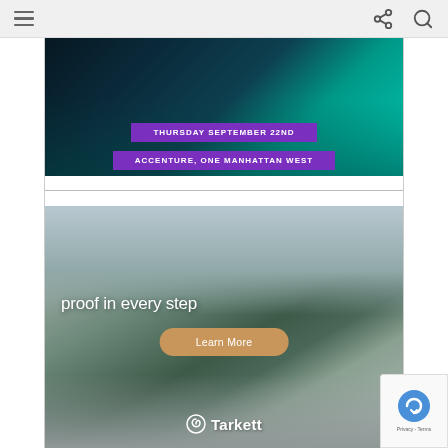[Figure (screenshot): Browser chrome top bar with hamburger menu icon on the left and share/search icons on the right, on a light gray background]
[Figure (photo): Advertisement banner for an event: THURSDAY SEPTEMBER 22ND, ACCENTURE, ONE MANHATTAN WEST — dark blue/teal background with city/waterfront imagery and purple pill-shaped text labels]
[Figure (photo): Advertisement for Tarkett flooring: woman walking on a path with the text 'proof in every step', a 'Learn More' button in tan/gold, and the Tarkett logo at bottom. Outdoor landscape background.]
[Figure (other): Google reCAPTCHA badge in the bottom-right corner with the reCAPTCHA logo and 'Privacy - Terms' text]